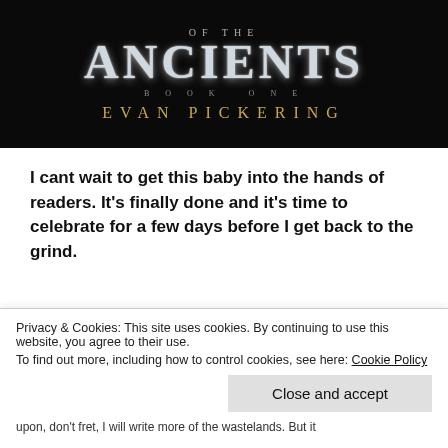[Figure (illustration): Book cover for 'Of the Ancients, Book One' by Evan Pickering. Dark background with large metallic silver text 'ANCIENTS', smaller text 'OF THE' above, 'BOOK ONE' below the title, and author name 'EVAN PICKERING' in gold letters at the bottom.]
I cant wait to get this baby into the hands of readers. It's finally done and it's time to celebrate for a few days before I get back to the grind.
Privacy & Cookies: This site uses cookies. By continuing to use this website, you agree to their use. To find out more, including how to control cookies, see here: Cookie Policy
Close and accept
upon, don't fret, I will write more of the wastelands. But it